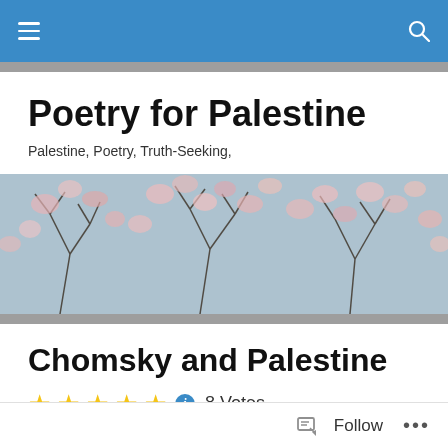Navigation bar with menu and search icons
Poetry for Palestine
Palestine, Poetry, Truth-Seeking,
[Figure (photo): A banner photo showing pink flowers scattered among bare tree branches against a blue-gray sky, viewed from below looking up.]
Chomsky and Palestine
8 Votes
JINSA (Jewish Institute for National Security Affairs)
Follow